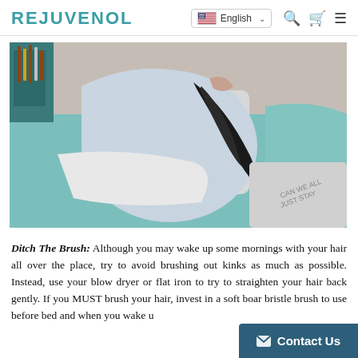REJUVENOL | English
[Figure (photo): A person bending over a bed with teal/turquoise and white bedding, with long dark hair falling forward. A makeup brush holder is visible on a nightstand in the background.]
Ditch The Brush: Although you may wake up some mornings with your hair all over the place, try to avoid brushing out kinks as much as possible. Instead, use your blow dryer or flat iron to try to straighten your hair back gently. If you MUST brush your hair, invest in a soft boar bristle brush to use before bed and when you wake u...